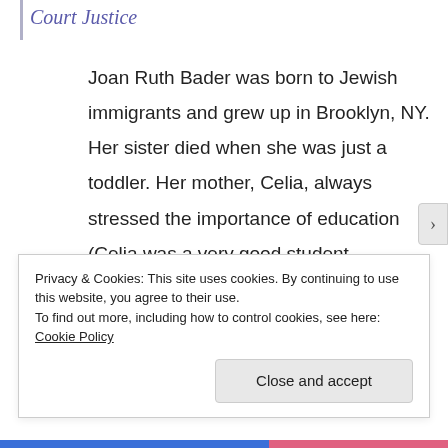Court Justice
Joan Ruth Bader was born to Jewish immigrants and grew up in Brooklyn, NY. Her sister died when she was just a toddler. Her mother, Celia, always stressed the importance of education (Celia was a very good student, graduating High School at 15, yet her family
Privacy & Cookies: This site uses cookies. By continuing to use this website, you agree to their use.
To find out more, including how to control cookies, see here: Cookie Policy